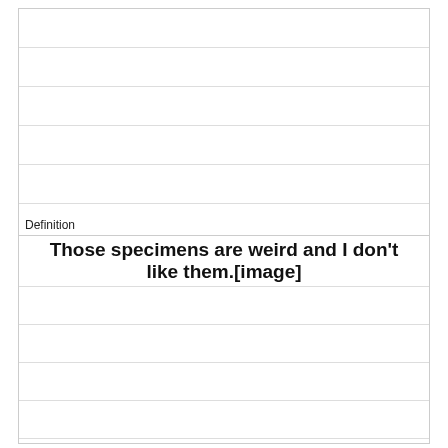Definition
Those specimens are weird and I don't like them.[image]
Term
varying: different